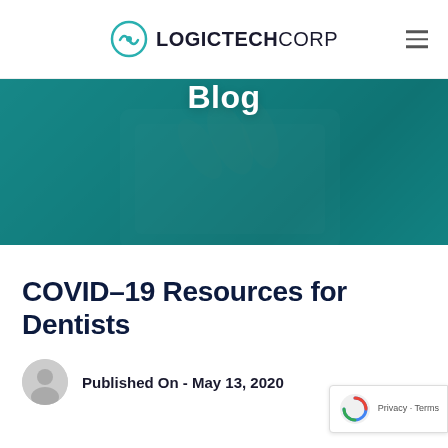LOGICTECHCORP
[Figure (photo): Blog banner image showing a hand touching a tablet, overlaid with teal color. Text 'Blog' centered over the image.]
COVID-19 Resources for Dentists
Published On - May 13, 2020